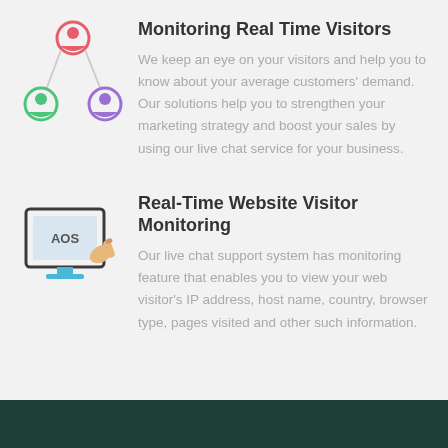[Figure (illustration): Colorful icon showing three person/user figures connected in a network: one at the top center with a red/orange circle, one at the bottom left with a green circle, and one at the bottom right with a purple circle, connected by lines.]
Monitoring Real Time Visitors
We keep an eye on your visitors and help you to know about your average customers' demand. Our solutions help you to strengthen your marketing strategy and boost your sales by using our live chat service for your business.
[Figure (illustration): Colorful icon of a desktop computer monitor displaying 'AOS' text with a hand/finger pointing at the screen. The monitor has a blue stand and the hand is tan/skin-colored.]
Real-Time Website Visitor Monitoring
Our live chat support system has monitoring feature that enables you to view your web visitor's IP address, host name, country, browser type, pages visited and other such information.